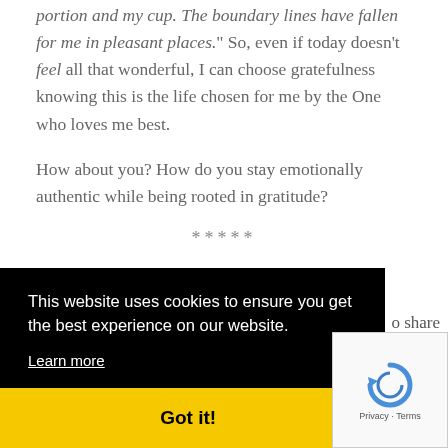portion and my cup. The boundary lines have fallen for me in pleasant places.” So, even if today doesn’t feel all that wonderful, I can choose gratefulness knowing this is the life chosen for me by the One who loves me best.
How about you? How do you stay emotionally authentic while being rooted in gratitude?
*****
o share
t.  So
g an
ompt.
[Figure (screenshot): Cookie consent banner with black background reading 'This website uses cookies to ensure you get the best experience on our website.' with a 'Learn more' link and a 'Got it!' yellow button at the bottom. A reCAPTCHA widget appears in the bottom right corner.]
Come share your heart, your words, your art on our prompt